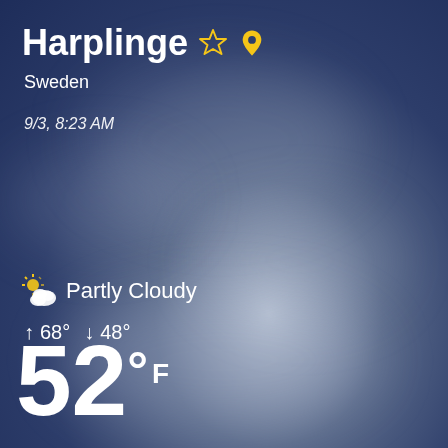Harplinge
Sweden
9/3, 8:23 AM
[Figure (illustration): Partly cloudy weather icon with sun behind cloud]
Partly Cloudy
↑ 68° ↓ 48°
52° F